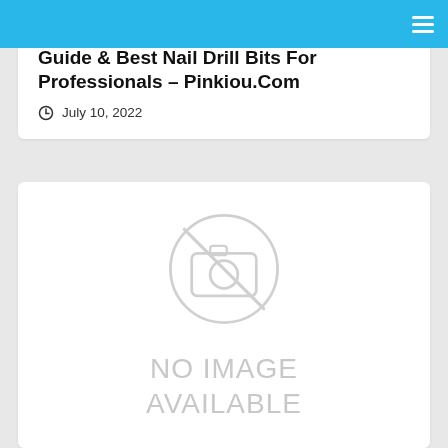Guide & Best Nail Drill Bits For Professionals – Pinkiou.Com
July 10, 2022
[Figure (photo): No image available placeholder with a camera icon crossed out and text reading NO IMAGE AVAILABLE]